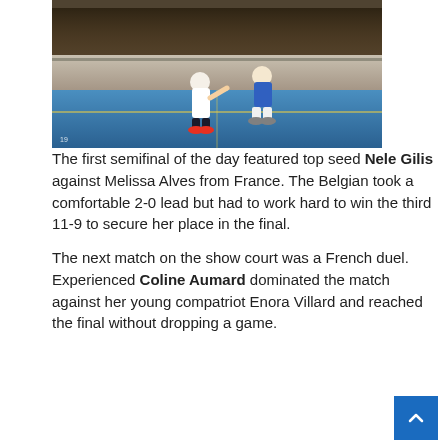[Figure (photo): Two squash players on a blue court during a match, with a crowd of spectators in the background watching the game.]
The first semifinal of the day featured top seed Nele Gilis against Melissa Alves from France. The Belgian took a comfortable 2-0 lead but had to work hard to win the third 11-9 to secure her place in the final.

The next match on the show court was a French duel. Experienced Coline Aumard dominated the match against her young compatriot Enora Villard and reached the final without dropping a game.